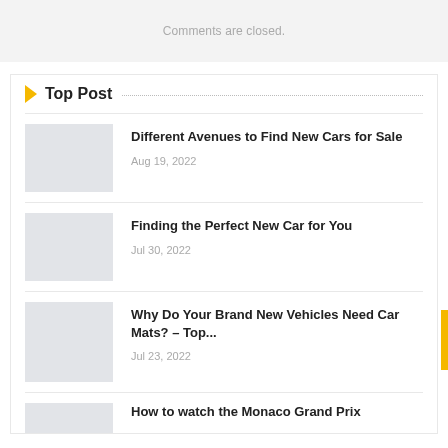Comments are closed.
Top Post
Different Avenues to Find New Cars for Sale
Aug 19, 2022
Finding the Perfect New Car for You
Jul 30, 2022
Why Do Your Brand New Vehicles Need Car Mats? – Top...
Jul 23, 2022
How to watch the Monaco Grand Prix